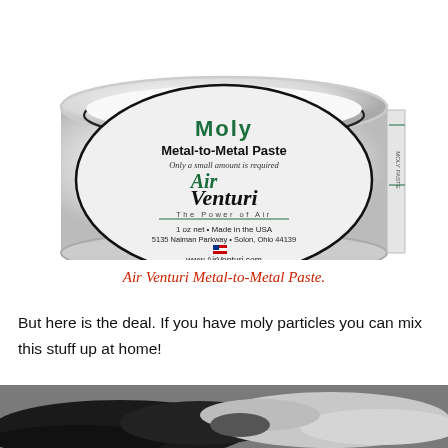[Figure (photo): A white circular tin container of Air Venturi Moly Metal-to-Metal Paste, 1 oz net, Made in the USA, 5135 Naiman Parkway, Solon, Ohio 44139, www.AirVenturi.com]
Air Venturi Metal-to-Metal Paste.
But here is the deal. If you have moly particles you can mix this stuff up at home!
[Figure (photo): Close-up photo of dark black moly particles contrasted with white powder, showing raw material.]